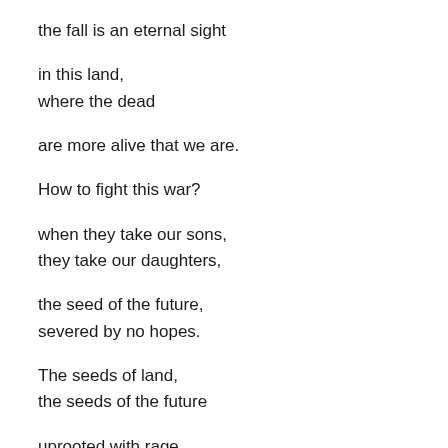the fall is an eternal sight
in this land,
where the dead
are more alive that we are.
How to fight this war?
when they take our sons,
they take our daughters,
the seed of the future,
severed by no hopes.
The seeds of land,
the seeds of the future
uprooted with rage.